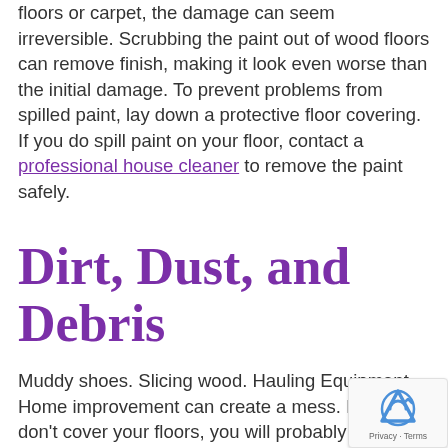floors or carpet, the damage can seem irreversible. Scrubbing the paint out of wood floors can remove finish, making it look even worse than the initial damage. To prevent problems from spilled paint, lay down a protective floor covering. If you do spill paint on your floor, contact a professional house cleaner to remove the paint safely.
Dirt, Dust, and Debris
Muddy shoes. Slicing wood. Hauling Equipment. Home improvement can create a mess. If you don't cover your floors, you will probably have to spend hours cleaning up. A protective